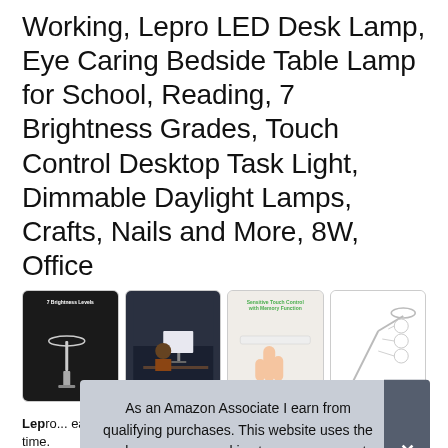Working, Lepro LED Desk Lamp, Eye Caring Bedside Table Lamp for School, Reading, 7 Brightness Grades, Touch Control Desktop Task Light, Dimmable Daylight Lamps, Crafts, Nails and More, 8W, Office
[Figure (photo): Four product thumbnail images of the Lepro LED Desk Lamp showing different angles and features: lamp with 7 brightness levels text on dark background, woman working at desk with lamp, sensitive touch control feature closeup, and white lamp diagram/schematic.]
Lepro ... easy ... most. Ideal for working, reading and studying for a long time.
As an Amazon Associate I earn from qualifying purchases. This website uses the only necessary cookies to ensure you get the best experience on our website. More information